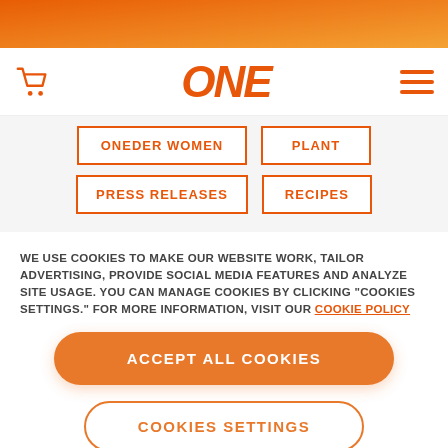[Figure (logo): ONE brand logo in orange italic font]
ONEDER WOMEN
PLANT
PRESS RELEASES
RECIPES
WE USE COOKIES TO MAKE OUR WEBSITE WORK, TAILOR ADVERTISING, PROVIDE SOCIAL MEDIA FEATURES AND ANALYZE SITE USAGE. YOU CAN MANAGE COOKIES BY CLICKING "COOKIES SETTINGS." FOR MORE INFORMATION, VISIT OUR COOKIE POLICY
ACCEPT ALL COOKIES
COOKIES SETTINGS